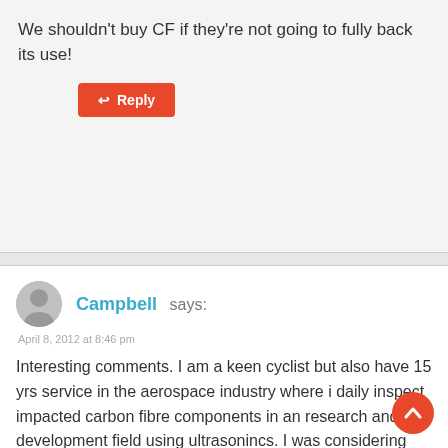We shouldn't buy CF if they're not going to fully back its use!
Reply
Campbell says:
April 8, 2012 at 8:46 pm
Interesting comments. I am a keen cyclist but also have 15 yrs service in the aerospace industry where i daily inspect impacted carbon fibre components in an research and development field using ultrasonincs. I was considering starting an inspection service from home. Have inspected a few stems , seat posts and frames in the past and yes damage was evident. Perhaps due to impact or fatigue as a result of forces exerted by